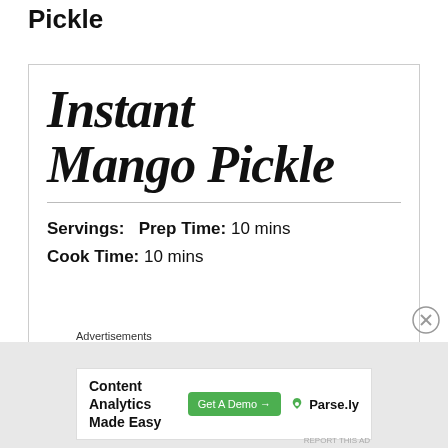Pickle
[Figure (other): Recipe card for Instant Mango Pickle showing title in decorative script font, a horizontal divider, and recipe metadata including Servings, Prep Time: 10 mins, Cook Time: 10 mins]
Servings:   Prep Time: 10 mins
Cook Time: 10 mins
Advertisements
Content Analytics Made Easy  Get A Demo →  🌿 Parse.ly